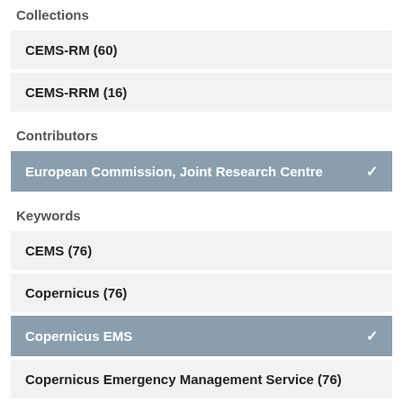Collections
CEMS-RM (60)
CEMS-RRM (16)
Contributors
European Commission, Joint Research Centre ✓
Keywords
CEMS (76)
Copernicus (76)
Copernicus EMS ✓
Copernicus Emergency Management Service (76)